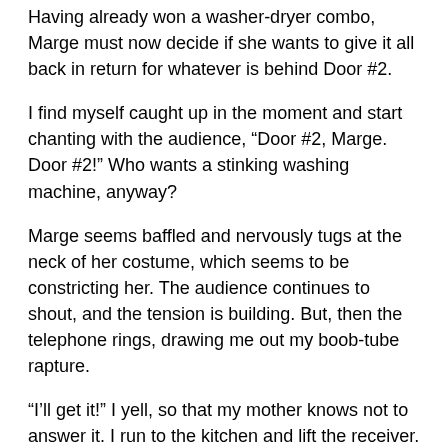Having already won a washer-dryer combo, Marge must now decide if she wants to give it all back in return for whatever is behind Door #2.
I find myself caught up in the moment and start chanting with the audience, “Door #2, Marge. Door #2!” Who wants a stinking washing machine, anyway?
Marge seems baffled and nervously tugs at the neck of her costume, which seems to be constricting her. The audience continues to shout, and the tension is building. But, then the telephone rings, drawing me out my boob-tube rapture.
“I’ll get it!” I yell, so that my mother knows not to answer it. I run to the kitchen and lift the receiver.
“Hey, Kiddo. It’s been too long.”